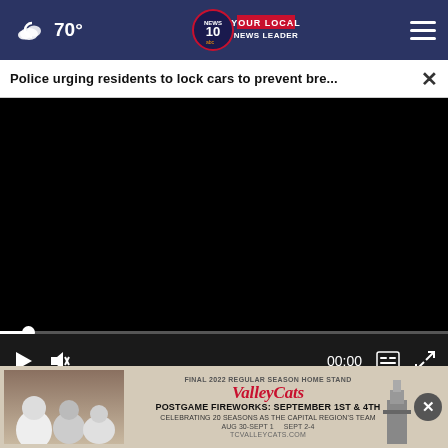70° — NEWS 10 abc YOUR LOCAL NEWS LEADER
Police urging residents to lock cars to prevent bre...
[Figure (screenshot): Embedded video player showing a black screen with playback controls: play button, mute button, timestamp 00:00, captions icon, and fullscreen icon. A white progress dot is at the beginning of the scrubber bar.]
Thousands of Ashburn Seniors Are Getting Walk-in Tu...
Smart Consumer Update
[Figure (photo): Advertisement banner for Tri-City ValleyCats featuring team mascot and players. Text: POSTGAME FIREWORKS: SEPTEMBER 1ST & 4TH — CELEBRATING 20 SEASONS AS THE CAPITAL REGION'S TEAM — AUG 30-SEPT 1, SEPT 2-4. TCVALLEYCATS.COM. FINAL 2022 REGULAR SEASON HOME STAND.]